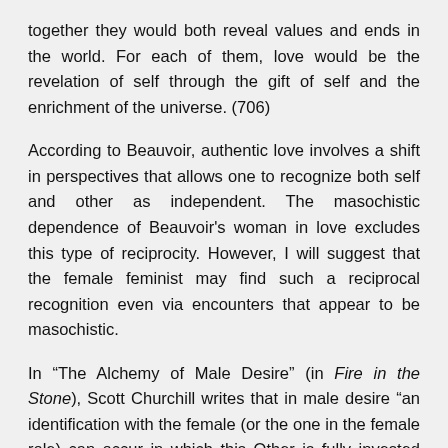together they would both reveal values and ends in the world. For each of them, love would be the revelation of self through the gift of self and the enrichment of the universe. (706)
According to Beauvoir, authentic love involves a shift in perspectives that allows one to recognize both self and other as independent. The masochistic dependence of Beauvoir's woman in love excludes this type of reciprocity. However, I will suggest that the female feminist may find such a reciprocal recognition even via encounters that appear to be masochistic.
In "The Alchemy of Male Desire" (in Fire in the Stone), Scott Churchill writes that in male desire "an identification with the female (or the one in the female role) can occur in which this Other is fully invested with subjectivity—indeed, where the female body and receptive role are taken up